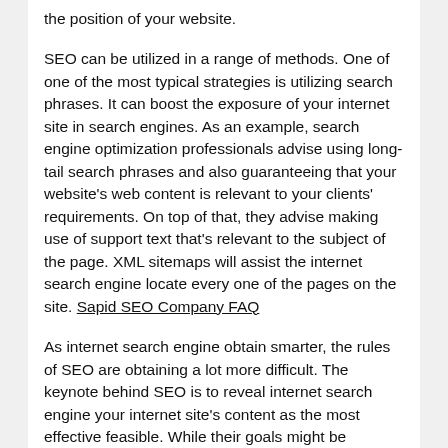the position of your website.
SEO can be utilized in a range of methods. One of one of the most typical strategies is utilizing search phrases. It can boost the exposure of your internet site in search engines. As an example, search engine optimization professionals advise using long-tail search phrases and also guaranteeing that your website's web content is relevant to your clients' requirements. On top of that, they advise making use of support text that's relevant to the subject of the page. XML sitemaps will assist the internet search engine locate every one of the pages on the site. Sapid SEO Company FAQ
As internet search engine obtain smarter, the rules of SEO are obtaining a lot more difficult. The keynote behind SEO is to reveal internet search engine your internet site's content as the most effective feasible. While their goals might be comparable, there are differences between the algorithms used by various internet search engine. Right here are three vital aspects of SEO that you should remember: The very first aspect is the sort of material you want to attract.